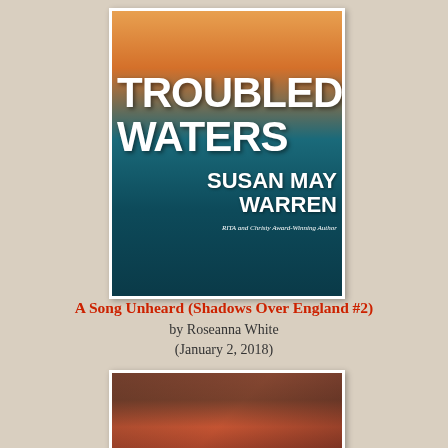[Figure (photo): Book cover of 'Troubled Waters' by Susan May Warren showing a man with a teal stormy ocean background with lightning and a boat]
A Song Unheard (Shadows Over England #2)
by Roseanna White
(January 2, 2018)
[Figure (photo): Book cover of 'A Song Unheard' showing a blonde woman in period dress looking at camera]